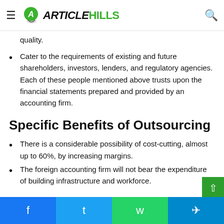ArticleHills
quality.
Cater to the requirements of existing and future shareholders, investors, lenders, and regulatory agencies. Each of these people mentioned above trusts upon the financial statements prepared and provided by an accounting firm.
Specific Benefits of Outsourcing
There is a considerable possibility of cost-cutting, almost up to 60%, by increasing margins.
The foreign accounting firm will not bear the expenditure of building infrastructure and workforce.